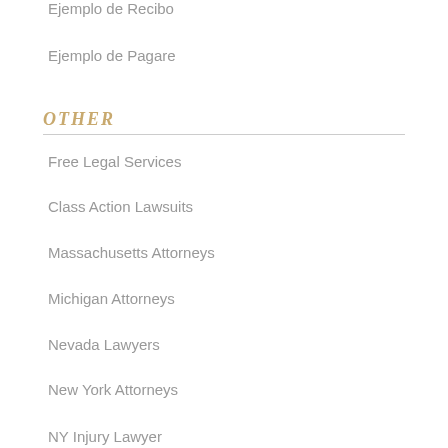Ejemplo de Recibo
Ejemplo de Pagare
OTHER
Free Legal Services
Class Action Lawsuits
Massachusetts Attorneys
Michigan Attorneys
Nevada Lawyers
New York Attorneys
NY Injury Lawyer